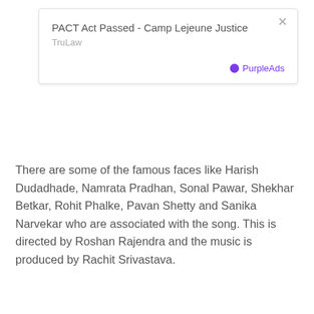[Figure (screenshot): Advertisement box with title 'PACT Act Passed - Camp Lejeune Justice', source 'TruLaw', close button (×), and PurpleAds branding logo at bottom right.]
There are some of the famous faces like Harish Dudadhade, Namrata Pradhan, Sonal Pawar, Shekhar Betkar, Rohit Phalke, Pavan Shetty and Sanika Narvekar who are associated with the song. This is directed by Roshan Rajendra and the music is produced by Rachit Srivastava.